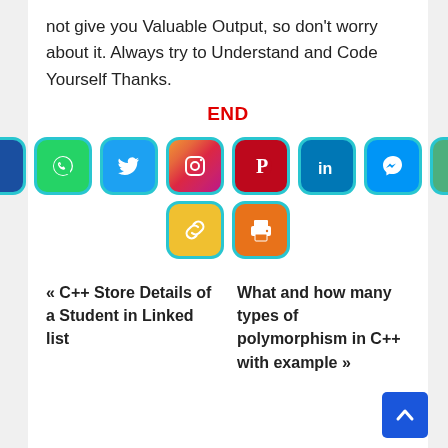not give you Valuable Output, so don't worry about it. Always try to Understand and Code Yourself Thanks.
END
[Figure (other): Row of social media share icons: Facebook, WhatsApp, Twitter, Instagram, Pinterest, LinkedIn, Messenger, Email, Link/Copy, Print]
« C++ Store Details of a Student in Linked list
What and how many types of polymorphism in C++ with example »